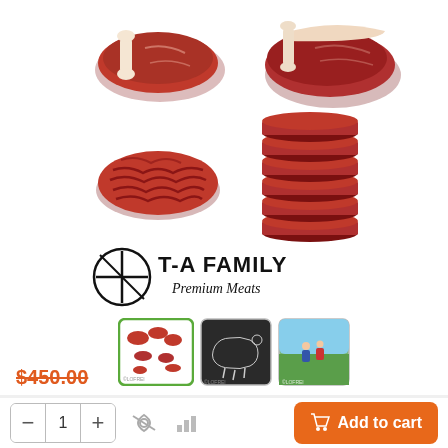[Figure (photo): Product images of premium meats: two steaks (top), ground beef and stacked burger patties (bottom), T-A Family Premium Meats logo, and three thumbnail images]
Write a review
$450.00 (strikethrough price)
Add to cart